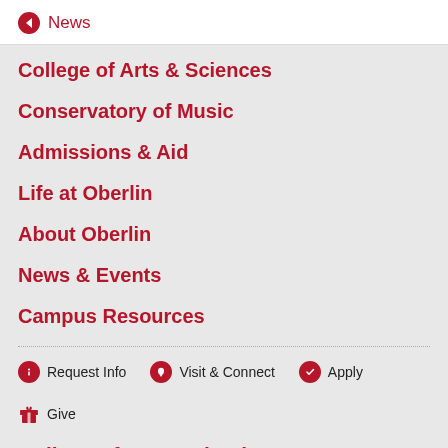← News
College of Arts & Sciences
Conservatory of Music
Admissions & Aid
Life at Oberlin
About Oberlin
News & Events
Campus Resources
Request Info  Visit & Connect  Apply
Give
College of Arts and Sciences